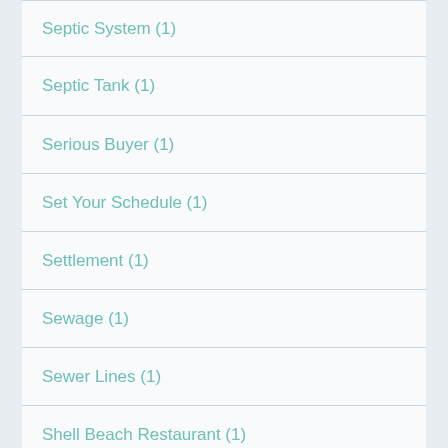Septic System (1)
Septic Tank (1)
Serious Buyer (1)
Set Your Schedule (1)
Settlement (1)
Sewage (1)
Sewer Lines (1)
Shell Beach Restaurant (1)